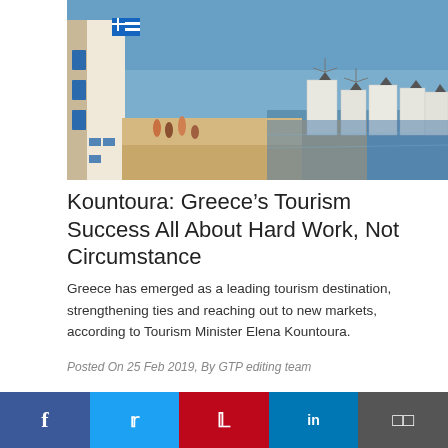[Figure (photo): Coastal scene of Mykonos, Greece, showing whitewashed buildings with windmills in the background and tourists walking along a waterfront promenade. Greek flag visible on a blue building at left.]
Kountoura: Greece's Tourism Success All About Hard Work, Not Circumstance
Greece has emerged as a leading tourism destination, strengthening ties and reaching out to new markets, according to Tourism Minister Elena Kountoura.
Posted On 25 Feb 2019, By GTP editing team
[Figure (photo): Partial view of a modern building or architectural structure with diagonal lines, appearing to be a convention center or similar venue.]